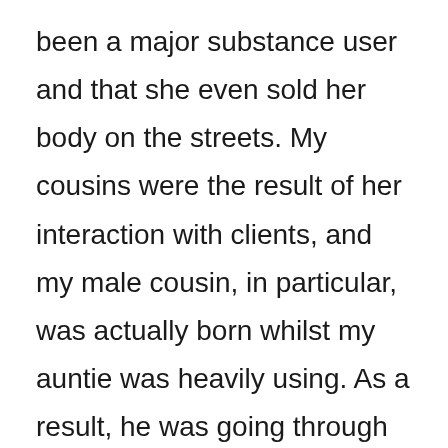been a major substance user and that she even sold her body on the streets. My cousins were the result of her interaction with clients, and my male cousin, in particular, was actually born whilst my auntie was heavily using. As a result, he was going through withdrawal after his birth. My grandparents ended up flying in from Wales to take custody of them, and they also put my auntie on a plane so she could go off on her own.